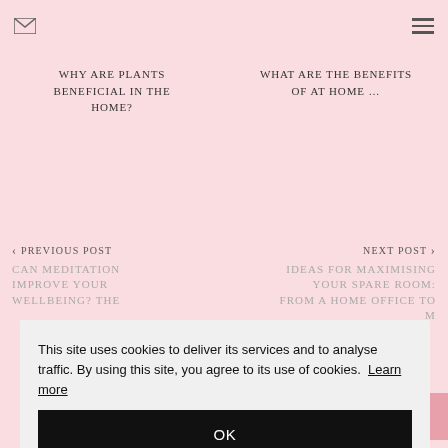[email icon] [hamburger menu]
WHY ARE PLANTS BENEFICIAL IN THE HOME?
WHAT ARE THE BENEFITS OF AT HOME ...
< PREVIOUS POST
CAN MEDITATION IMPROVE YOUR WELLBEING? THE
NEXT POST >
IDEAS FOR MAXIMISING YOUR SPARE ROOM: FROM A HOME OFFICE TO M
This site uses cookies to deliver its services and to analyse traffic. By using this site, you agree to its use of cookies. Learn more
OK